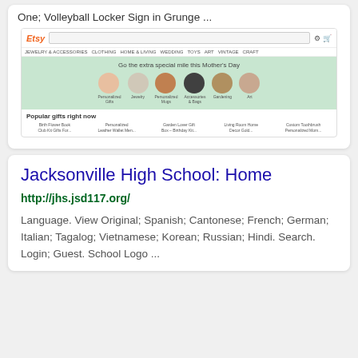One; Volleyball Locker Sign in Grunge ...
[Figure (screenshot): Etsy website screenshot showing homepage with search bar, navigation, Mother's Day banner with circular category images, and 'Popular gifts right now' product grid]
Jacksonville High School: Home
http://jhs.jsd117.org/
Language. View Original; Spanish; Cantonese; French; German; Italian; Tagalog; Vietnamese; Korean; Russian; Hindi. Search. Login; Guest. School Logo ...